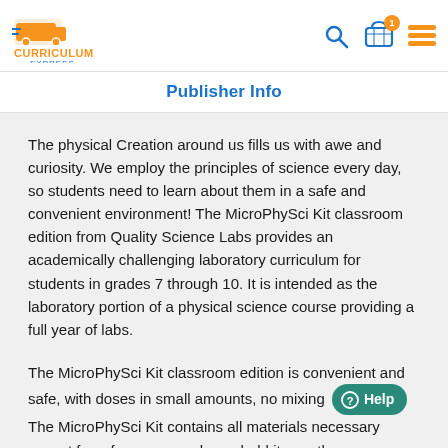Curriculum Express — Publisher Info
Publisher Info
The physical Creation around us fills us with awe and curiosity. We employ the principles of science every day, so students need to learn about them in a safe and convenient environment! The MicroPhySci Kit classroom edition from Quality Science Labs provides an academically challenging laboratory curriculum for students in grades 7 through 10. It is intended as the laboratory portion of a physical science course providing a full year of labs.
The MicroPhySci Kit classroom edition is convenient and safe, with doses in small amounts, no mixing The MicroPhySci Kit contains all materials necessary except for a few common household items—there are